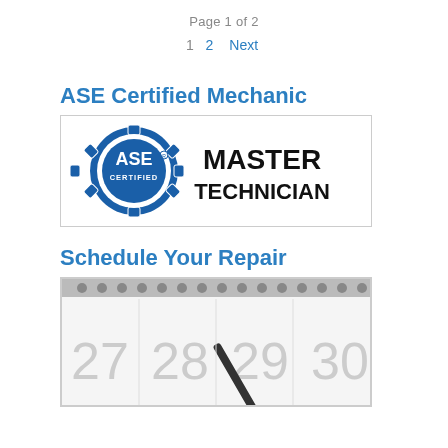Page 1 of 2
1  2  Next
ASE Certified Mechanic
[Figure (logo): ASE Certified Master Technician logo — blue gear badge with 'ASE CERTIFIED' text and 'MASTER TECHNICIAN' in large black letters]
Schedule Your Repair
[Figure (photo): Close-up photo of a desk calendar opened to dates 27, 28, 29, 30 with a pen resting on it]